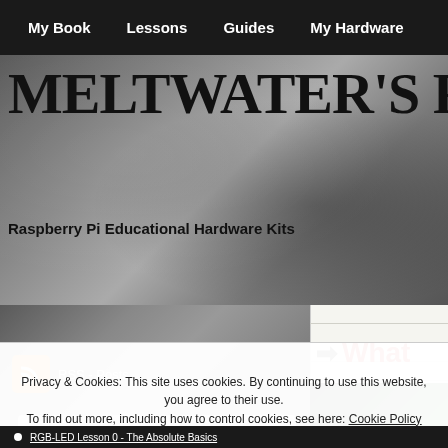My Book | Lessons | Guides | My Hardware
MELTWATER'S RAS
Raspberry Pi Educational Hardware Kits
[Figure (screenshot): RSS feed icon with label RSS - Posts on a dark textured background]
search this site
[Figure (screenshot): Right sidebar area showing 'What' in red text with arrow, and a green circuit board image below, on a lined paper background]
Privacy & Cookies: This site uses cookies. By continuing to use this website, you agree to their use.
To find out more, including how to control cookies, see here: Cookie Policy
Close and accept
RGB-LED Lesson 0 - The Absolute Basics